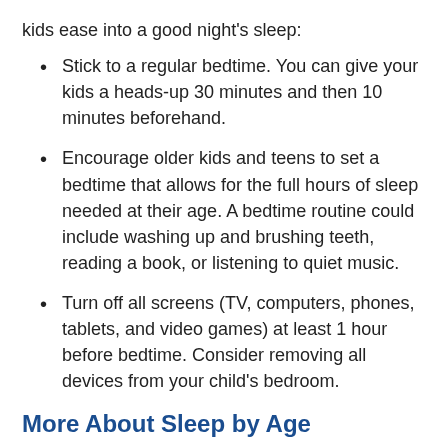kids ease into a good night's sleep:
Stick to a regular bedtime. You can give your kids a heads-up 30 minutes and then 10 minutes beforehand.
Encourage older kids and teens to set a bedtime that allows for the full hours of sleep needed at their age. A bedtime routine could include washing up and brushing teeth, reading a book, or listening to quiet music.
Turn off all screens (TV, computers, phones, tablets, and video games) at least 1 hour before bedtime. Consider removing all devices from your child's bedroom.
More About Sleep by Age